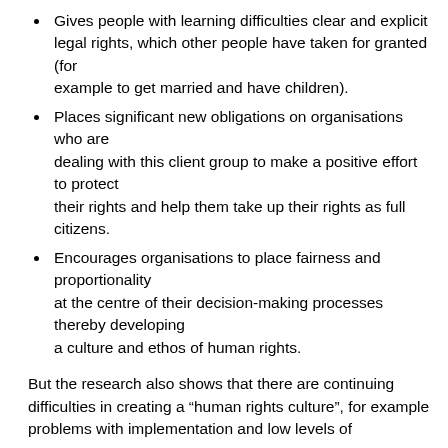Gives people with learning difficulties clear and explicit legal rights, which other people have taken for granted (for example to get married and have children).
Places significant new obligations on organisations who are dealing with this client group to make a positive effort to protect their rights and help them take up their rights as full citizens.
Encourages organisations to place fairness and proportionality at the centre of their decision-making processes thereby developing a culture and ethos of human rights.
But the research also shows that there are continuing difficulties in creating a “human rights culture”, for example problems with implementation and low levels of awareness